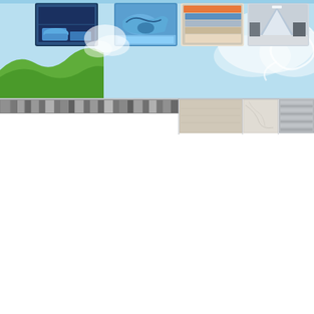[Figure (illustration): Header banner with light blue sky/cloud background featuring four photo insets: a bathroom/interior with dark blue accents, a medical/surgical scene with blue gloves, stacked colored panels/flooring samples in orange/blue/grey tones, and a modern corridor interior. Left portion has a green wave/landscape graphic on blue background.]
[Figure (illustration): Color swatch strip showing a row of small grey/blue color squares on the left side, followed by three larger rectangular material/flooring samples: a grey beige tone, a light marble/grey texture, and a grey striped texture.]